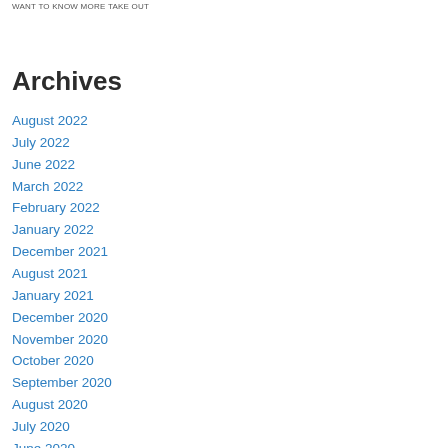WANT TO KNOW MORE TAKE OUT
Archives
August 2022
July 2022
June 2022
March 2022
February 2022
January 2022
December 2021
August 2021
January 2021
December 2020
November 2020
October 2020
September 2020
August 2020
July 2020
June 2020